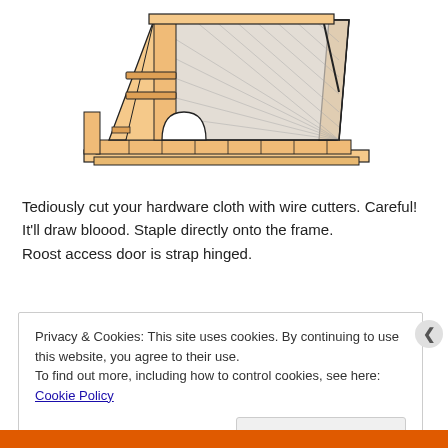[Figure (illustration): A-frame chicken coop / roost structure drawing showing wooden frame construction with wire mesh panels, interior roost bars, and a hinged access door. The structure is triangular/A-frame in shape with wooden slats on the floor and diagonal cross-bracing on the wire mesh sides.]
Tediously cut your hardware cloth with wire cutters. Careful! It'll draw bloood. Staple directly onto the frame.
Roost access door is strap hinged.
Privacy & Cookies: This site uses cookies. By continuing to use this website, you agree to their use.
To find out more, including how to control cookies, see here: Cookie Policy
Close and accept